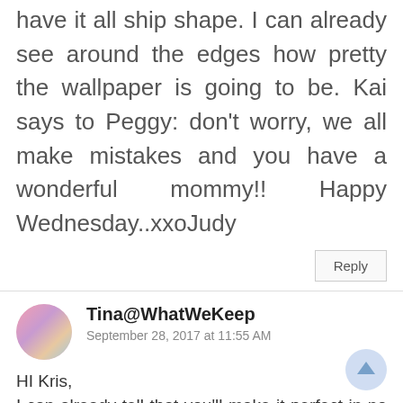have it all ship shape. I can already see around the edges how pretty the wallpaper is going to be. Kai says to Peggy: don't worry, we all make mistakes and you have a wonderful mommy!! Happy Wednesday..xxoJudy
Reply
Tina@WhatWeKeep
September 28, 2017 at 11:55 AM
HI Kris,
I can already tell that you'll make it perfect in no time. I bet you are so